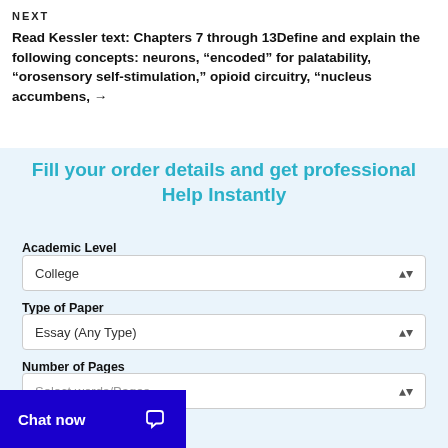NEXT
Read Kessler text: Chapters 7 through 13Define and explain the following concepts: neurons, „ncoded” for palatability, “orosensory self-stimulation,” opioid circuitry, “nucleus accumbens, →
Fill your order details and get professional Help Instantly
Academic Level
College
Type of Paper
Essay (Any Type)
Number of Pages
Select words/Pages
Chat now